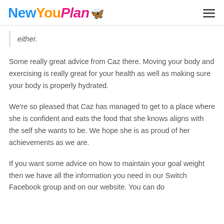New You Plan
either.
Some really great advice from Caz there. Moving your body and exercising is really great for your health as well as making sure your body is properly hydrated.
We're so pleased that Caz has managed to get to a place where she is confident and eats the food that she knows aligns with the self she wants to be. We hope she is as proud of her achievements as we are.
If you want some advice on how to maintain your goal weight then we have all the information you need in our Switch Facebook group and on our website. You can do